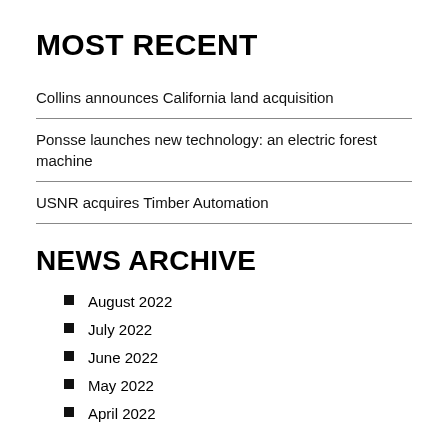MOST RECENT
Collins announces California land acquisition
Ponsse launches new technology: an electric forest machine
USNR acquires Timber Automation
NEWS ARCHIVE
August 2022
July 2022
June 2022
May 2022
April 2022